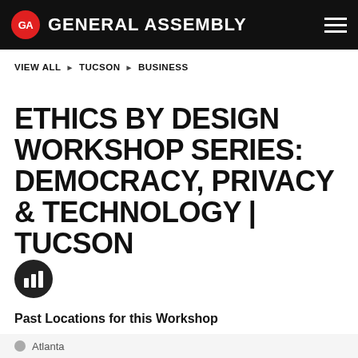GENERAL ASSEMBLY
VIEW ALL ▶ TUCSON ▶ BUSINESS
ETHICS BY DESIGN WORKSHOP SERIES: DEMOCRACY, PRIVACY & TECHNOLOGY | TUCSON
[Figure (logo): Dark circular badge icon with bar chart symbol]
Past Locations for this Workshop
Atlanta